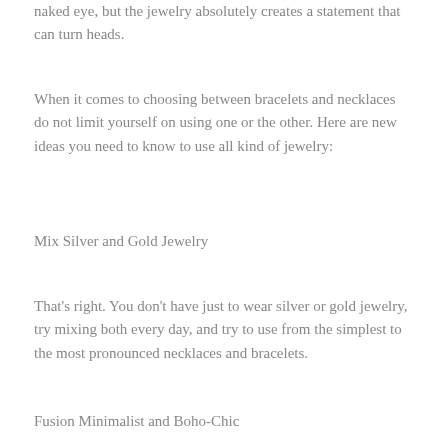naked eye, but the jewelry absolutely creates a statement that can turn heads.
When it comes to choosing between bracelets and necklaces do not limit yourself on using one or the other. Here are new ideas you need to know to use all kind of jewelry:
Mix Silver and Gold Jewelry
That's right. You don't have just to wear silver or gold jewelry, try mixing both every day, and try to use from the simplest to the most pronounced necklaces and bracelets.
Fusion Minimalist and Boho-Chic